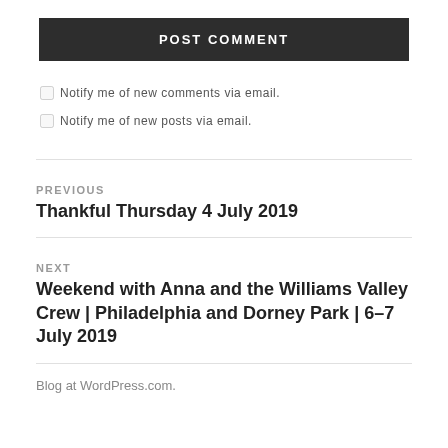POST COMMENT
Notify me of new comments via email.
Notify me of new posts via email.
PREVIOUS
Thankful Thursday 4 July 2019
NEXT
Weekend with Anna and the Williams Valley Crew | Philadelphia and Dorney Park | 6–7 July 2019
Blog at WordPress.com.